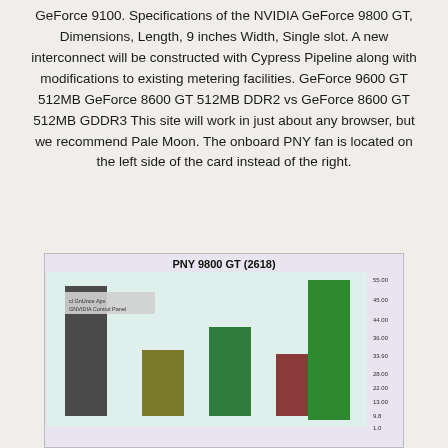GeForce 9100. Specifications of the NVIDIA GeForce 9800 GT, Dimensions, Length, 9 inches Width, Single slot. A new interconnect will be constructed with Cypress Pipeline along with modifications to existing metering facilities. GeForce 9600 GT 512MB GeForce 8600 GT 512MB DDR2 vs GeForce 8600 GT 512MB GDDR3 This site will work in just about any browser, but we recommend Pale Moon. The onboard PNY fan is located on the left side of the card instead of the right.
[Figure (bar-chart): PNY 9800 GT (2618)]